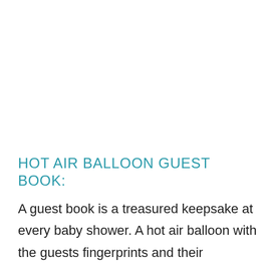HOT AIR BALLOON GUEST BOOK:
A guest book is a treasured keepsake at every baby shower. A hot air balloon with the guests fingerprints and their signatures